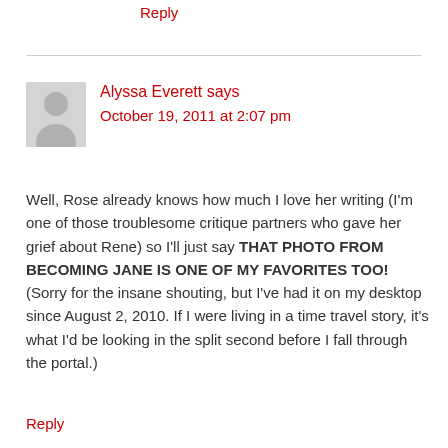Reply
Alyssa Everett says
October 19, 2011 at 2:07 pm
Well, Rose already knows how much I love her writing (I'm one of those troublesome critique partners who gave her grief about Rene) so I'll just say THAT PHOTO FROM BECOMING JANE IS ONE OF MY FAVORITES TOO! (Sorry for the insane shouting, but I've had it on my desktop since August 2, 2010. If I were living in a time travel story, it's what I'd be looking in the split second before I fall through the portal.)
Reply